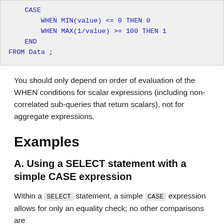[Figure (screenshot): Code block showing SQL CASE expression: CASE WHEN MIN(value) <= 0 THEN 0 WHEN MAX(1/value) >= 100 THEN 1 END FROM Data ;]
You should only depend on order of evaluation of the WHEN conditions for scalar expressions (including non-correlated sub-queries that return scalars), not for aggregate expressions.
Examples
A. Using a SELECT statement with a simple CASE expression
Within a SELECT statement, a simple CASE expression allows for only an equality check; no other comparisons are